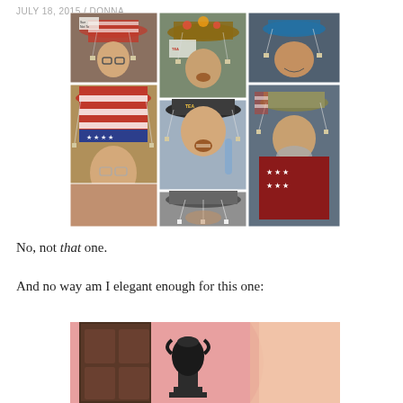JULY 18, 2015 / DONNA
[Figure (photo): Collage of multiple photos showing people wearing hats with tea bags hanging from them, associated with the Tea Party political movement. Includes an Uncle Sam hat, wide-brimmed hats, and caps decorated with tea bags.]
No, not that one.
And no way am I elegant enough for this one:
[Figure (photo): Bottom portion of a photo showing what appears to be an elegant pink-colored venue or doorway with a decorative black urn or trophy on a pedestal.]